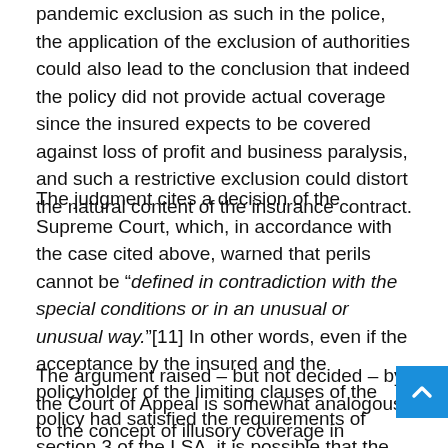pandemic exclusion as such in the police, the application of the exclusion of authorities could also lead to the conclusion that indeed the policy did not provide actual coverage since the insured expects to be covered against loss of profit and business paralysis, and such a restrictive exclusion could distort the natural content of the insurance contract.
The judgment cites a decision of the Supreme Court, which, in accordance with the case cited above, warned that perils cannot be "defined in contradiction with the special conditions or in an unusual or unusual way."[11] In other words, even if the acceptance by the insured and the policyholder of the limiting clauses of the policy had satisfied the requirements of section 3 of the LSA, it is possible that the court made the same decision.
The argument raised – but not decided – by the Court of Appeal is somewhat analogous to the concept of illusory coverage in common law jurisdictions, which applies in general terms when a policy defines coverage in such a way that the coverage will never actually be triggered, and may allow a court to reform the